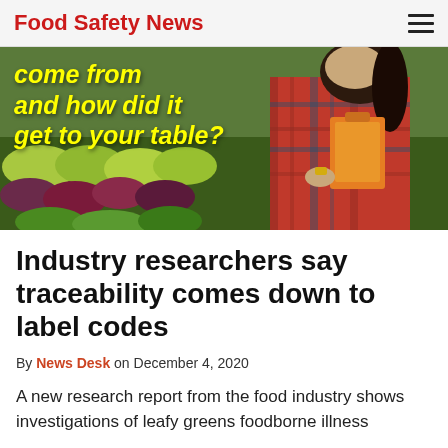Food Safety News
[Figure (photo): Hero image of a woman in a plaid shirt holding an orange clipboard, crouching in a colorful leafy greens garden. Yellow bold italic text overlay reads: 'come from and how did it get to your table?']
Industry researchers say traceability comes down to label codes
By News Desk on December 4, 2020
A new research report from the food industry shows investigations of leafy greens foodborne illness